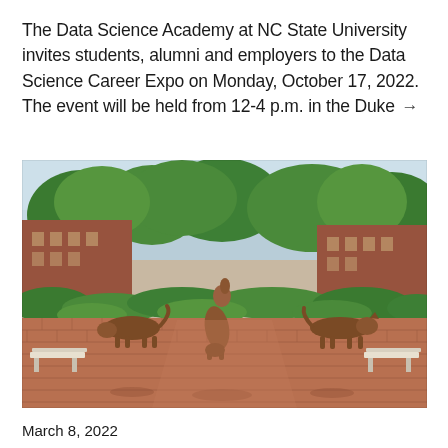The Data Science Academy at NC State University invites students, alumni and employers to the Data Science Career Expo on Monday, October 17, 2022. The event will be held from 12-4 p.m. in the Duke →
[Figure (photo): Outdoor campus scene at NC State University showing bronze wolf sculptures on a brick plaza, surrounded by green trees and brick buildings with white benches in the background.]
March 8, 2022